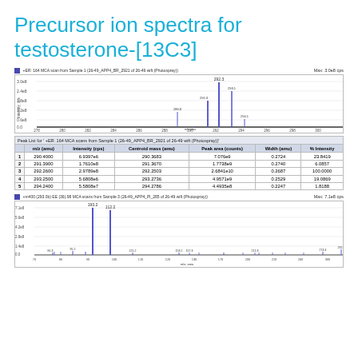Precursor ion spectra for testosterone-[13C3]
[Figure (continuous-plot): Mass spectrum showing precursor ion scan. Major peak at 292.3 cps, smaller peaks at 289.0, 291.3, 293.1, 294.1. X-axis: m/z, amu (range ~278-302). Y-axis: Intensity, cps (0 to ~3.0e8). Header: +ER: 164 MCA scan from Sample 1 (26-49_APP4_BR_2921 of 26-49 wift (Photospray)). Max: 3.0e8 cps.]
|  | m/z (amu) | Intensity (cps) | Centroid mass (amu) | Peak area (counts) | Width (amu) | % Intensity |
| --- | --- | --- | --- | --- | --- | --- |
| 1 | 290.4000 | 6.9397e6 | 290.3683 | 7.076e9 | 0.2724 | 23.8419 |
| 2 | 291.3900 | 1.7610e8 | 291.3670 | 1.7738e9 | 0.2740 | 6.0857 |
| 3 | 292.2600 | 2.9789e8 | 292.2503 | 2.6841e10 | 0.2687 | 100.0000 |
| 4 | 293.2500 | 5.6808e6 | 293.2736 | 4.9571e9 | 0.2529 | 19.0869 |
| 5 | 294.2400 | 5.5808e7 | 294.2786 | 4.4935e8 | 0.2247 | 1.8188 |
[Figure (continuous-plot): Product ion mass spectrum (EE). Major peaks at 193.2 and 112.2 cps. Smaller peaks at 81.3, 95.2, 82.0, 85.0, 107.1, 211.3, 125.2, 153.2, 157.3, 161.3, 179.2, 187.4, 200.3, 293.1, 215.4, 229.6, 230.8, 240.1, 259.9, 256.2, 274.4, 292.5. X-axis: m/z, amu (range ~70-300). Y-axis: Intensity, cps. Header: +m400 (293.0b) EE (36).98 MCA scans from Sample 3 (26-49_APP4_Pl_285 of 26-49 wift (Photospray)). Max: 7.1e8 cps.]